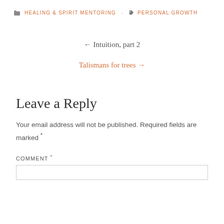HEALING & SPIRIT MENTORING · PERSONAL GROWTH
← Intuition, part 2
Talismans for trees →
Leave a Reply
Your email address will not be published. Required fields are marked *
COMMENT *